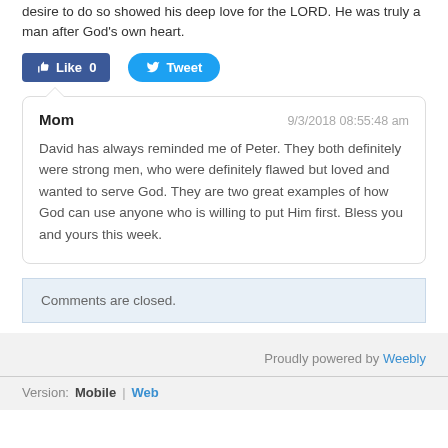desire to do so showed his deep love for the LORD. He was truly a man after God’s own heart.
[Figure (screenshot): Social sharing buttons: Facebook Like (0) and Tweet button]
Mom
9/3/2018 08:55:48 am
David has always reminded me of Peter. They both definitely were strong men, who were definitely flawed but loved and wanted to serve God. They are two great examples of how God can use anyone who is willing to put Him first. Bless you and yours this week.
Comments are closed.
Proudly powered by Weebly
Version: Mobile | Web